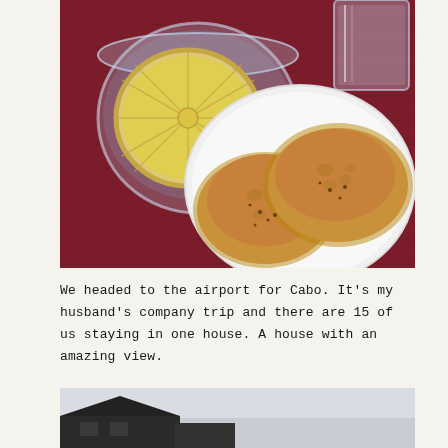[Figure (photo): A breakfast scene on a dark red/maroon woven placemat. There is a glass bowl/cup with a lemon slice floating in water or tea, a clear glass of water in the upper right, and a white plate with two English muffins or biscuits topped with peanut butter.]
We headed to the airport for Cabo. It's my husband's company trip and there are 15 of us staying in one house. A house with an amazing view.
[Figure (photo): Partial view of a house exterior at night or dusk, with a light-colored sky and dark building silhouette visible at the bottom of the page.]